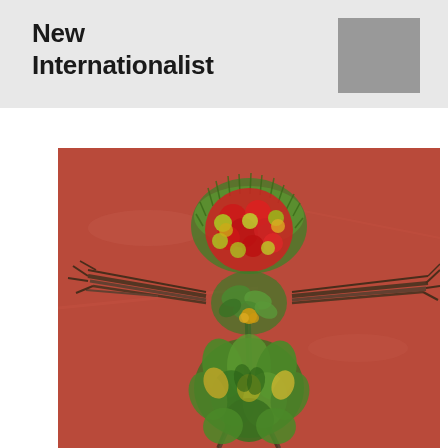New Internationalist
[Figure (photo): A human figure made from natural materials — twigs for arms and legs, green moss and grass for hair, red and yellow flower petals for the face/chest, and green leaves forming a skirt — arranged on a red-brown surface.]